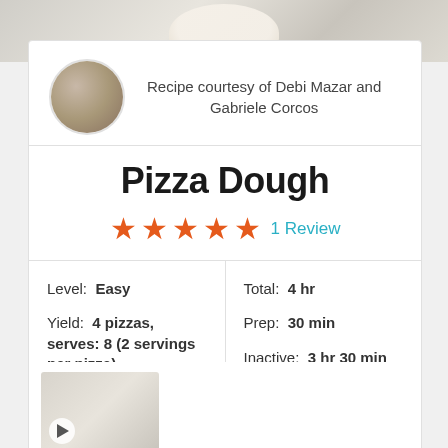[Figure (photo): Top banner showing pizza dough on marble surface]
[Figure (photo): Circular avatar photo of Debi Mazar and Gabriele Corcos]
Recipe courtesy of Debi Mazar and Gabriele Corcos
Pizza Dough
★★★★★ 1 Review
Level:  Easy
Yield:  4 pizzas, serves: 8 (2 servings per pizza)
Total:  4 hr
Prep:  30 min
Inactive:  3 hr 30 min
[Figure (photo): Video thumbnail showing pizza dough with play button]